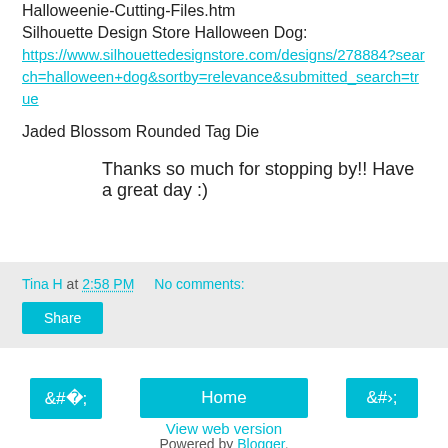Halloweenie-Cutting-Files.htm
Silhouette Design Store Halloween Dog:
https://www.silhouettedesignstore.com/designs/278884?search=halloween+dog&sortby=relevance&submitted_search=true
Jaded Blossom Rounded Tag Die
Thanks so much for stopping by!! Have a great day :)
Tina H at 2:58 PM    No comments:
Share
‹
Home
›
View web version
Powered by Blogger.